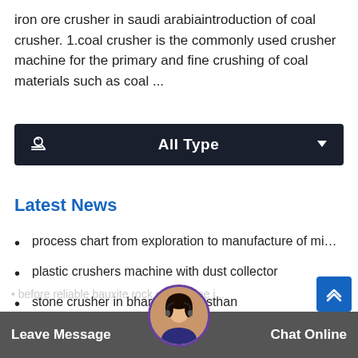iron ore crusher in saudi arabiaintroduction of coal crusher. 1.coal crusher is the commonly used crusher machine for the primary and fine crushing of coal materials such as coal ...
[Figure (screenshot): Dark dropdown filter bar labeled 'All Type' with a hand/cursor icon on the left and a downward triangle arrow on the right, on a dark navy background.]
Latest News
process chart from exploration to manufacture of mi…
plastic crushers machine with dust collector
stone crusher in bharatpur rajasthan
• oefore reliable bauxite rock chat online i…  Leave Message  Chat Online